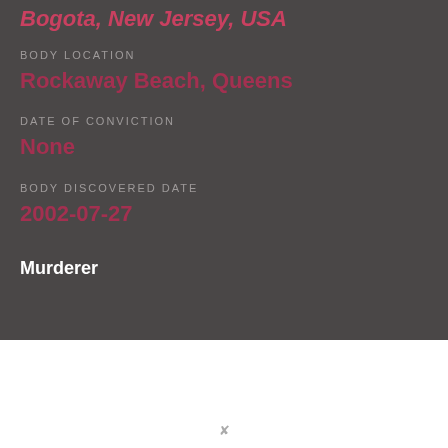Bogota, New Jersey, USA
BODY LOCATION
Rockaway Beach, Queens
DATE OF CONVICTION
None
BODY DISCOVERED DATE
2002-07-27
Murderer